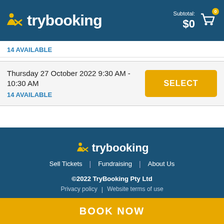trybooking — Subtotal: $0, Cart: 0
14 AVAILABLE
Thursday 27 October 2022 9:30 AM - 10:30 AM
14 AVAILABLE
trybooking — Sell Tickets | Fundraising | About Us — ©2022 TryBooking Pty Ltd — Privacy policy | Website terms of use
BOOK NOW